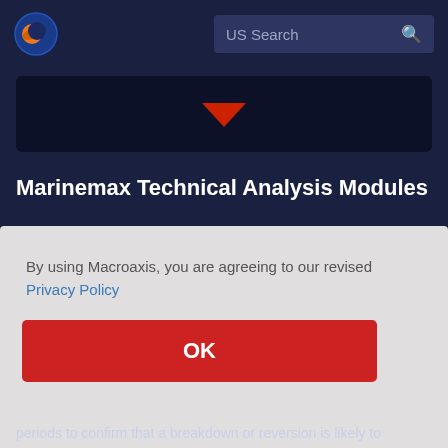US Search
[Figure (screenshot): Dark chart panel with red dropdown chevron indicator]
Marinemax Technical Analysis Modules
Most technical analysis of Marinemax help investors
By using Macroaxis, you are agreeing to our revised Privacy Policy
OK
periods to confirm that a breakdown or reversion is likely to